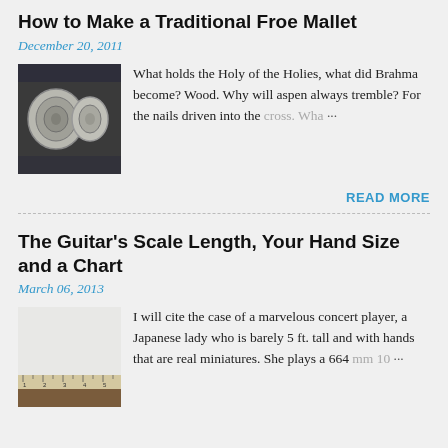How to Make a Traditional Froe Mallet
December 20, 2011
[Figure (photo): Photo of a wooden froe mallet, showing birch or aspen log sections]
What holds the Holy of the Holies, what did Brahma become? Wood. Why will aspen always tremble? For the nails driven into the cross. Wha …
READ MORE
The Guitar's Scale Length, Your Hand Size and a Chart
March 06, 2013
[Figure (photo): Photo of a ruler measuring something white, likely paper or cloth, on a wooden surface]
I will cite the case of a marvelous concert player, a Japanese lady who is barely 5 ft. tall and with hands that are real miniatures. She plays a 664 mm 10 …